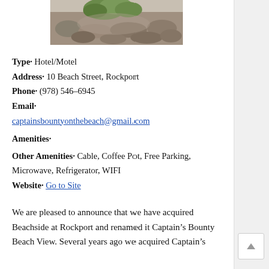[Figure (photo): Stone fountain or planter with rocks and some plants, photographed from above]
Type· Hotel/Motel
Address· 10 Beach Street, Rockport
Phone· (978) 546-6945
Email·
captainsbountyonthebeach@gmail.com
Amenities·
Other Amenities· Cable, Coffee Pot, Free Parking, Microwave, Refrigerator, WIFI
Website· Go to Site
We are pleased to announce that we have acquired Beachside at Rockport and renamed it Captain's Bounty Beach View. Several years ago we acquired Captain's